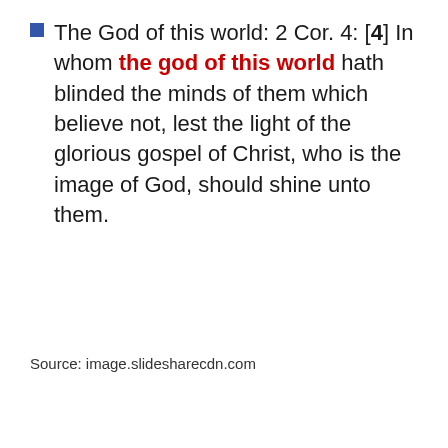The God of this world: 2 Cor. 4: [4] In whom the god of this world hath blinded the minds of them which believe not, lest the light of the glorious gospel of Christ, who is the image of God, should shine unto them.
Source: image.slidesharecdn.com